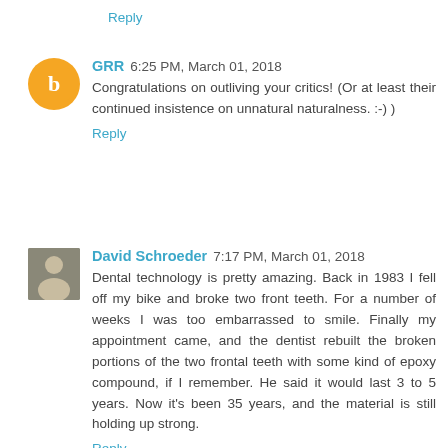Reply
GRR  6:25 PM, March 01, 2018
Congratulations on outliving your critics! (Or at least their continued insistence on unnatural naturalness. :-) )
Reply
David Schroeder  7:17 PM, March 01, 2018
Dental technology is pretty amazing. Back in 1983 I fell off my bike and broke two front teeth. For a number of weeks I was too embarrassed to smile. Finally my appointment came, and the dentist rebuilt the broken portions of the two frontal teeth with some kind of epoxy compound, if I remember. He said it would last 3 to 5 years. Now it's been 35 years, and the material is still holding up strong.
Reply